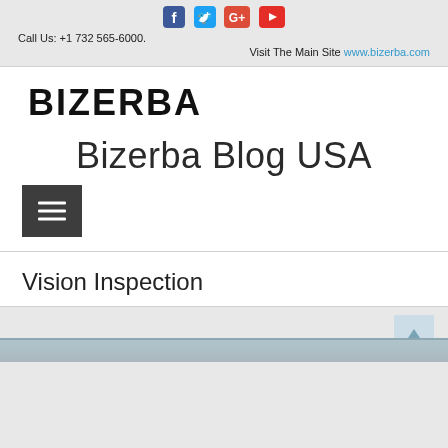[Figure (infographic): Social media icons: Facebook (blue), Twitter (blue bird), Google+ (red), YouTube (red play button)]
Call Us: +1 732 565-6000.
Visit The Main Site www.bizerba.com
[Figure (logo): BIZERBA logo in bold black uppercase letters]
Bizerba Blog USA
[Figure (infographic): Hamburger menu icon (three horizontal lines) in dark grey square button]
Vision Inspection
[Figure (screenshot): Bottom image strip, partially visible, appears to be a product or landscape image in blue-grey tones]